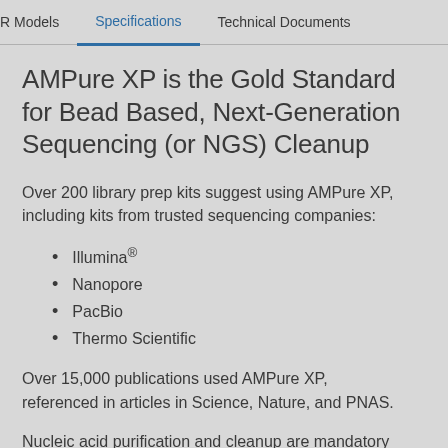R Models  |  Specifications  |  Technical Documents
AMPure XP is the Gold Standard for Bead Based, Next-Generation Sequencing (or NGS) Cleanup
Over 200 library prep kits suggest using AMPure XP, including kits from trusted sequencing companies:
Illumina®
Nanopore
PacBio
Thermo Scientific
Over 15,000 publications used AMPure XP, referenced in articles in Science, Nature, and PNAS.
Nucleic acid purification and cleanup are mandatory